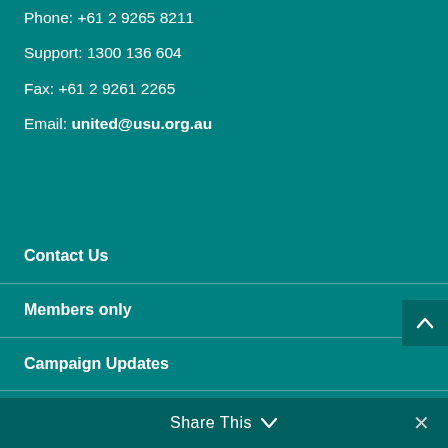Phone: +61 2 9265 8211
Support: 1300 136 604
Fax: +61 2 9261 2265
Email: united@usu.org.au
Contact Us
Members only
Campaign Updates
Latest USU News
Share This ✕